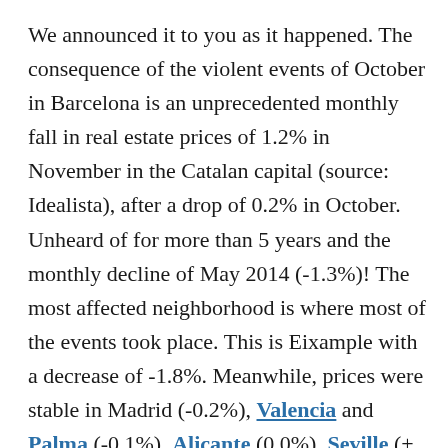We announced it to you as it happened. The consequence of the violent events of October in Barcelona is an unprecedented monthly fall in real estate prices of 1.2% in November in the Catalan capital (source: Idealista), after a drop of 0.2% in October. Unheard of for more than 5 years and the monthly decline of May 2014 (-1.3%)! The most affected neighborhood is where most of the events took place. This is Eixample with a decrease of -1.8%. Meanwhile, prices were stable in Madrid (-0.2%), Valencia and Palma (-0.1%), Alicante (0.0%), Seville (+ 0.2%) and down in Malaga (-1.1% but after an